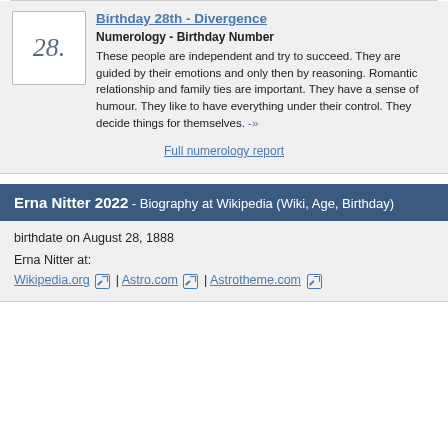Birthday 28th - Divergence
Numerology - Birthday Number
These people are independent and try to succeed. They are guided by their emotions and only then by reasoning. Romantic relationship and family ties are important. They have a sense of humour. They like to have everything under their control. They decide things for themselves. -»
Full numerology report
Erna Nitter 2022 - Biography at Wikipedia (Wiki, Age, Birthday)
birthdate on August 28, 1888
Erna Nitter at:
Wikipedia.org | Astro.com | Astrotheme.com